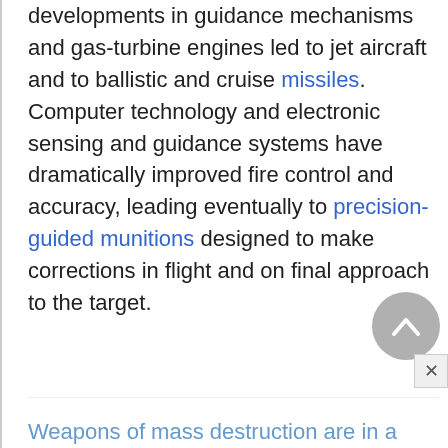developments in guidance mechanisms and gas-turbine engines led to jet aircraft and to ballistic and cruise missiles. Computer technology and electronic sensing and guidance systems have dramatically improved fire control and accuracy, leading eventually to precision-guided munitions designed to make corrections in flight and on final approach to the target.
Weapons of mass destruction are in a